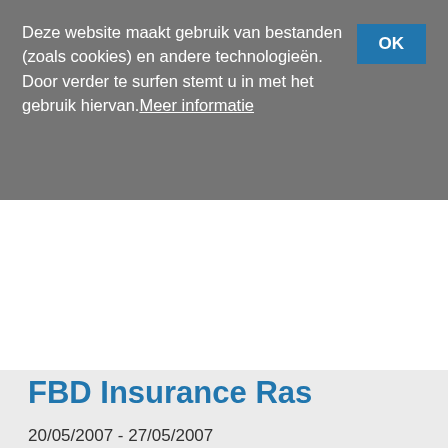Deze website maakt gebruik van bestanden (zoals cookies) en andere technologieën. Door verder te surfen stemt u in met het gebruik hiervan. Meer informatie
FBD Insurance Ras
20/05/2007 - 27/05/2007
Rituitslagen : ▼   Jaargang : ▼
Rit 1 (20/05/2007)
Naas - Templemore (157km)